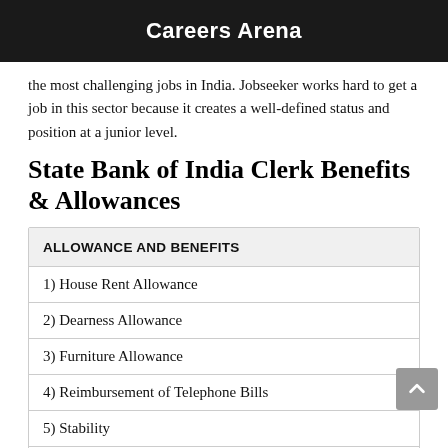Careers Arena
the most challenging jobs in India. Jobseeker works hard to get a job in this sector because it creates a well-defined status and position at a junior level.
State Bank of India Clerk Benefits & Allowances
| ALLOWANCE AND BENEFITS |
| --- |
| 1) House Rent Allowance |
| 2) Dearness Allowance |
| 3) Furniture Allowance |
| 4) Reimbursement of Telephone Bills |
| 5) Stability |
| 6) Financial Security |